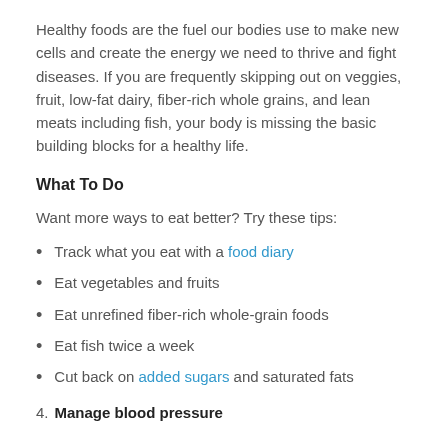Healthy foods are the fuel our bodies use to make new cells and create the energy we need to thrive and fight diseases. If you are frequently skipping out on veggies, fruit, low-fat dairy, fiber-rich whole grains, and lean meats including fish, your body is missing the basic building blocks for a healthy life.
What To Do
Want more ways to eat better? Try these tips:
Track what you eat with a food diary
Eat vegetables and fruits
Eat unrefined fiber-rich whole-grain foods
Eat fish twice a week
Cut back on added sugars and saturated fats
4. Manage blood pressure